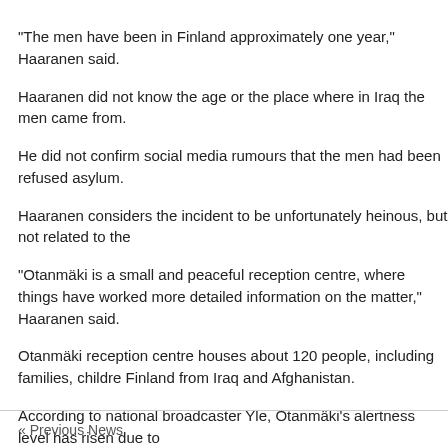“The men have been in Finland approximately one year,” Haaranen said.
Haaranen did not know the age or the place where in Iraq the men came from.
He did not confirm social media rumours that the men had been refused asylum.
Haaranen considers the incident to be unfortunately heinous, but not related to the
“Otanmäki is a small and peaceful reception centre, where things have worked more detailed information on the matter,” Haaranen said.
Otanmäki reception centre houses about 120 people, including families, children Finland from Iraq and Afghanistan.
According to national broadcaster Yle, Otanmäki’s alertness level has risen due to
Finnish Immigration Service reception unit director Jorma Kuuluvainen said that the
Discussions have shown that Otanmäki residents are ready to condemn the acts o
« Previous News